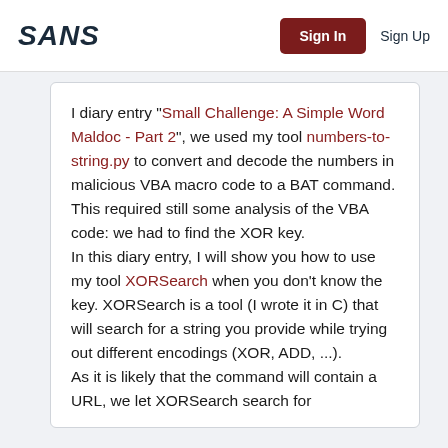SANS | Sign In | Sign Up
I diary entry "Small Challenge: A Simple Word Maldoc - Part 2", we used my tool numbers-to-string.py to convert and decode the numbers in malicious VBA macro code to a BAT command. This required still some analysis of the VBA code: we had to find the XOR key. In this diary entry, I will show you how to use my tool XORSearch when you don't know the key. XORSearch is a tool (I wrote it in C) that will search for a string you provide while trying out different encodings (XOR, ADD, ...). As it is likely that the command will contain a URL, we let XORSearch search for